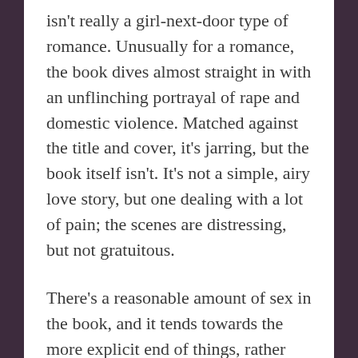isn't really a girl-next-door type of romance. Unusually for a romance, the book dives almost straight in with an unflinching portrayal of rape and domestic violence. Matched against the title and cover, it's jarring, but the book itself isn't. It's not a simple, airy love story, but one dealing with a lot of pain; the scenes are distressing, but not gratuitous.
There's a reasonable amount of sex in the book, and it tends towards the more explicit end of things, rather than fading to black or consisting primarily of burning kisses and losing oneself. There's also an element of BDSM that's not really hinted at by the blurb; it's nothing too extreme, but you should be aware that the romance does involve non-standard power